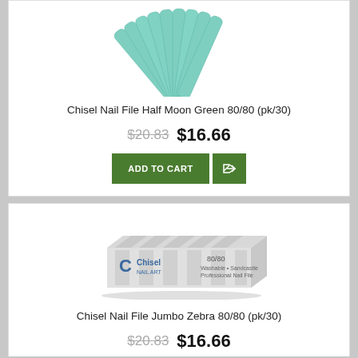[Figure (photo): Chisel Nail File Half Moon Green 80/80 fan of green nail files, pack of 30]
Chisel Nail File Half Moon Green 80/80 (pk/30)
$20.83  $16.66
[Figure (photo): Chisel Nail File Jumbo Zebra 80/80 rectangular block nail file with Chisel NAIL ART logo]
Chisel Nail File Jumbo Zebra 80/80 (pk/30)
$20.83  $16.66